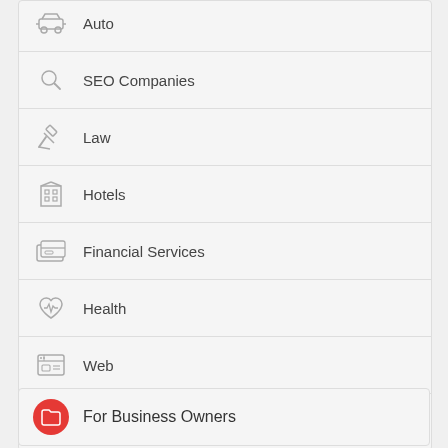Auto
SEO Companies
Law
Hotels
Financial Services
Health
Web
Home
For Business Owners